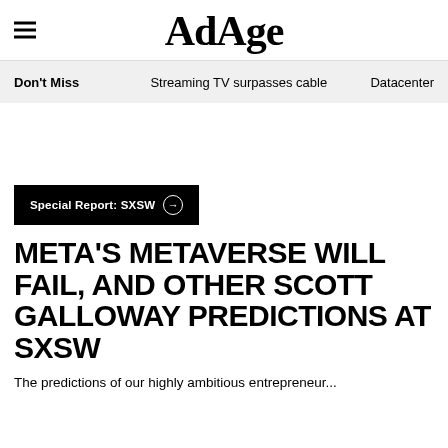AdAge
Don't Miss   Streaming TV surpasses cable   Datacenter
Special Report: SXSW
META'S METAVERSE WILL FAIL, AND OTHER SCOTT GALLOWAY PREDICTIONS AT SXSW
The predictions of our highly ambitious entrepreneur...